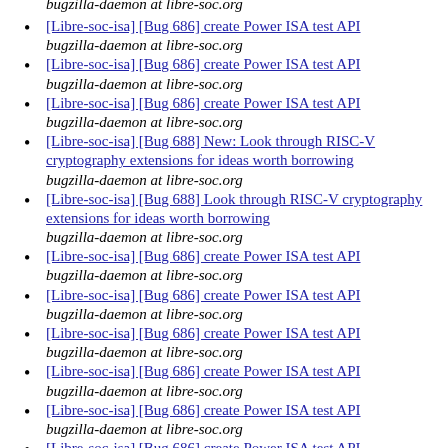[Libre-soc-isa] [Bug 686] create Power ISA test API
bugzilla-daemon at libre-soc.org
[Libre-soc-isa] [Bug 686] create Power ISA test API
bugzilla-daemon at libre-soc.org
[Libre-soc-isa] [Bug 686] create Power ISA test API
bugzilla-daemon at libre-soc.org
[Libre-soc-isa] [Bug 688] New: Look through RISC-V cryptography extensions for ideas worth borrowing
bugzilla-daemon at libre-soc.org
[Libre-soc-isa] [Bug 688] Look through RISC-V cryptography extensions for ideas worth borrowing
bugzilla-daemon at libre-soc.org
[Libre-soc-isa] [Bug 686] create Power ISA test API
bugzilla-daemon at libre-soc.org
[Libre-soc-isa] [Bug 686] create Power ISA test API
bugzilla-daemon at libre-soc.org
[Libre-soc-isa] [Bug 686] create Power ISA test API
bugzilla-daemon at libre-soc.org
[Libre-soc-isa] [Bug 686] create Power ISA test API
bugzilla-daemon at libre-soc.org
[Libre-soc-isa] [Bug 686] create Power ISA test API
bugzilla-daemon at libre-soc.org
[Libre-soc-isa] [Bug 686] create Power ISA test API
bugzilla-daemon at libre-soc.org